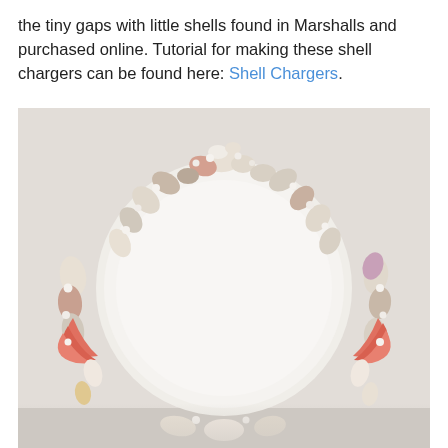the tiny gaps with little shells found in Marshalls and purchased online. Tutorial for making these shell chargers can be found here: Shell Chargers.
[Figure (photo): A white plate decorated around its rim with an arrangement of various seashells of different sizes, shapes, and colors (white, pink, orange, tan) forming a wreath-like ring. The plate sits on a light gray/white surface. The bottom of the image is slightly cut off, showing a partial reflection or shadow.]